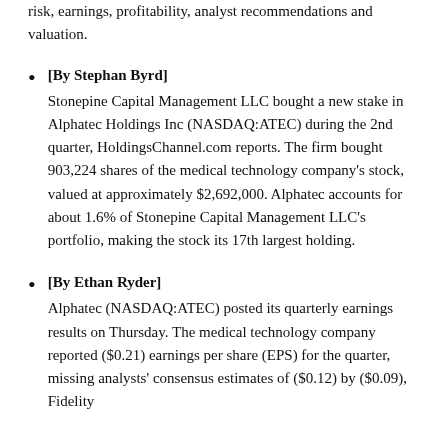risk, earnings, profitability, analyst recommendations and valuation.
[By Stephan Byrd] Stonepine Capital Management LLC bought a new stake in Alphatec Holdings Inc (NASDAQ:ATEC) during the 2nd quarter, HoldingsChannel.com reports. The firm bought 903,224 shares of the medical technology company's stock, valued at approximately $2,692,000. Alphatec accounts for about 1.6% of Stonepine Capital Management LLC's portfolio, making the stock its 17th largest holding.
[By Ethan Ryder] Alphatec (NASDAQ:ATEC) posted its quarterly earnings results on Thursday. The medical technology company reported ($0.21) earnings per share (EPS) for the quarter, missing analysts' consensus estimates of ($0.12) by ($0.09), Fidelity